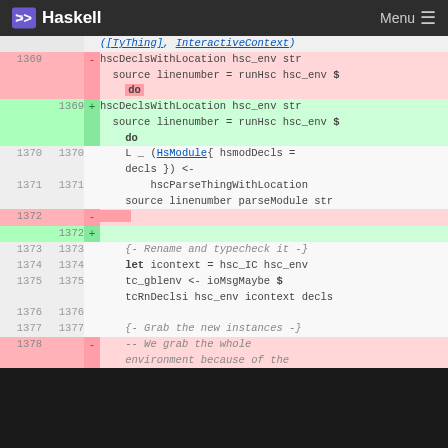Haskell   Menu
| old | new | +/- | code |
| --- | --- | --- | --- |
|  |  |  | ([TyThing], InteractiveContext) |
| 1369 |  | - | hscDeclsWithLocation hsc_env str source linenumber = runHsc hsc_env $ do |
|  | 1369 | + | hscDeclsWithLocation hsc_env str source linenumber = runHsc hsc_env $ do |
| 1370 | 1370 |  | L _ (HsModule{ hsmodDecls = decls }) <- |
| 1371 | 1371 |  | hscParseThingWithLocation source linenumber parseModule str |
| 1372 |  | - |  |
|  | 1372 | + |  |
| 1373 | 1373 |  | {- Rename and typecheck it -} |
| 1374 | 1374 |  | let icontext = hsc_IC hsc_env |
| 1375 | 1375 |  | tc_gblenv <- ioMsgMaybe $ tcRnDeclsi hsc_env icontext decls |
| 1376 | 1376 |  |  |
| 1377 | 1377 |  | {- Grab the new instances -} |
| 1378 |  | - | -- We grab the whole environment because of the |